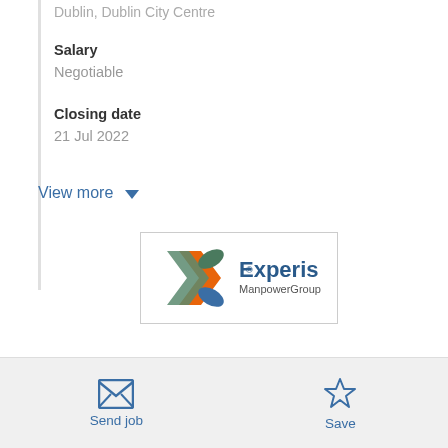Dublin, Dublin City Centre
Salary
Negotiable
Closing date
21 Jul 2022
View more
[Figure (logo): Experis ManpowerGroup logo with orange and teal/green X chevron marks]
Send job
Save